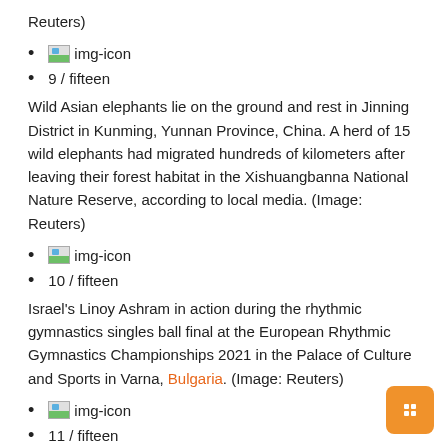Reuters)
img-icon
9 / fifteen
Wild Asian elephants lie on the ground and rest in Jinning District in Kunming, Yunnan Province, China. A herd of 15 wild elephants had migrated hundreds of kilometers after leaving their forest habitat in the Xishuangbanna National Nature Reserve, according to local media. (Image: Reuters)
img-icon
10 / fifteen
Israel's Linoy Ashram in action during the rhythmic gymnastics singles ball final at the European Rhythmic Gymnastics Championships 2021 in the Palace of Culture and Sports in Varna, Bulgaria. (Image: Reuters)
img-icon
11 / fifteen